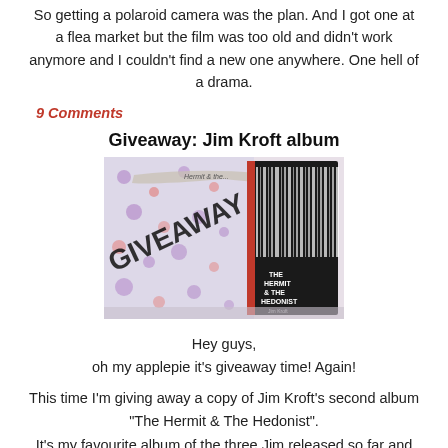So getting a polaroid camera was the plan. And I got one at a flea market but the film was too old and didn't work anymore and I couldn't find a new one anywhere. One hell of a drama.
9 Comments
Giveaway: Jim Kroft album
[Figure (photo): Photo of a giveaway package showing a floral patterned envelope stamped with 'GIVEAWAY' text and a dark album case for 'The Hermit & The Hedonist' by Jim Kroft]
Hey guys,
oh my applepie it's giveaway time! Again!
This time I'm giving away a copy of Jim Kroft's second album "The Hermit & The Hedonist".
It's my favourite album of the three Jim released so far and that's